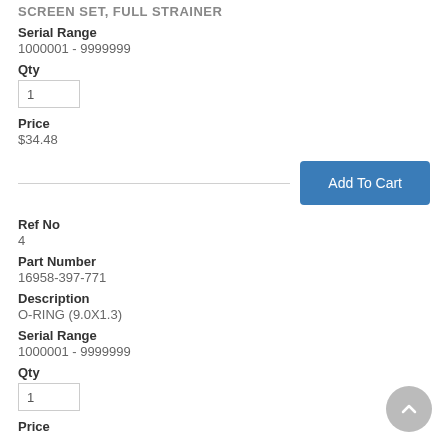SCREEN SET, FULL STRAINER
Serial Range
1000001 - 9999999
Qty
1
Price
$34.48
Add To Cart
Ref No
4
Part Number
16958-397-771
Description
O-RING (9.0X1.3)
Serial Range
1000001 - 9999999
Qty
1
Price